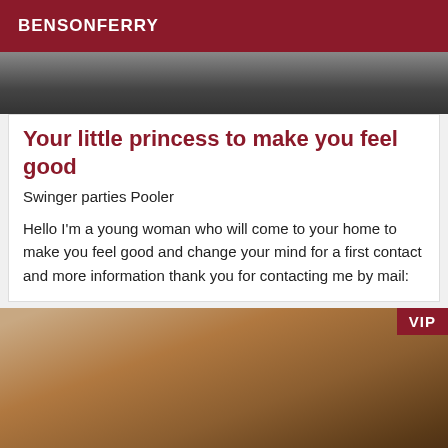BENSONFERRY
[Figure (photo): Top photo strip showing partially visible people in dark/muted tones]
Your little princess to make you feel good
Swinger parties Pooler
Hello I'm a young woman who will come to your home to make you feel good and change your mind for a first contact and more information thank you for contacting me by mail:
[Figure (photo): Young woman with blonde hair posing indoors, VIP badge in top-right corner]